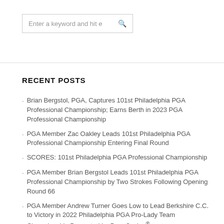Enter a keyword and hit e [search icon]
RECENT POSTS
Brian Bergstol, PGA, Captures 101st Philadelphia PGA Professional Championship; Earns Berth in 2023 PGA Professional Championship
PGA Member Zac Oakley Leads 101st Philadelphia PGA Professional Championship Entering Final Round
SCORES: 101st Philadelphia PGA Professional Championship
PGA Member Brian Bergstol Leads 101st Philadelphia PGA Professional Championship by Two Strokes Following Opening Round 66
PGA Member Andrew Turner Goes Low to Lead Berkshire C.C. to Victory in 2022 Philadelphia PGA Pro-Lady Team Championship Presented by Parx Casino®